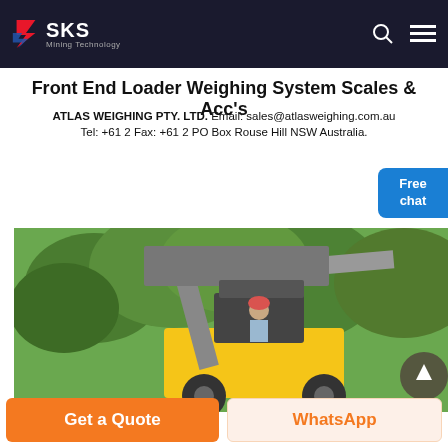[Figure (logo): SKS Mining Technology logo — red S-shaped chevron icon with white SKS text and grey 'Mining Technology' subtext on dark background header with search and menu icons]
Front End Loader Weighing System Scales & Acc's
ATLAS WEIGHING PTY. LTD. Email: sales@atlasweighing.com.au Tel: +61 2 Fax: +61 2 PO Box Rouse Hill NSW Australia.
[Figure (photo): A person in a hard hat operating a yellow front end loader with a large bucket raised, surrounded by green trees]
Get a Quote
WhatsApp